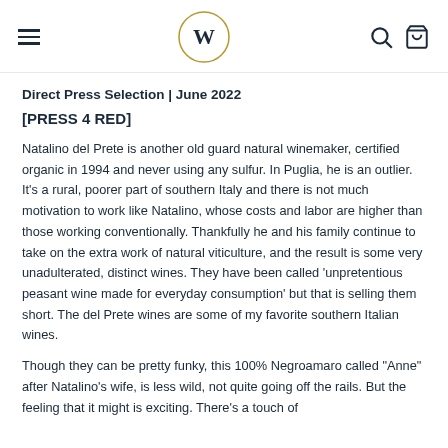W logo with hamburger menu, search, and cart icons
Direct Press Selection | June 2022
[PRESS 4 RED]
Natalino del Prete is another old guard natural winemaker, certified organic in 1994 and never using any sulfur. In Puglia, he is an outlier. It's a rural, poorer part of southern Italy and there is not much motivation to work like Natalino, whose costs and labor are higher than those working conventionally. Thankfully he and his family continue to take on the extra work of natural viticulture, and the result is some very unadulterated, distinct wines. They have been called 'unpretentious peasant wine made for everyday consumption' but that is selling them short. The del Prete wines are some of my favorite southern Italian wines.
Though they can be pretty funky, this 100% Negroamaro called "Anne" after Natalino's wife, is less wild, not quite going off the rails. But the feeling that it might is exciting. There's a touch of